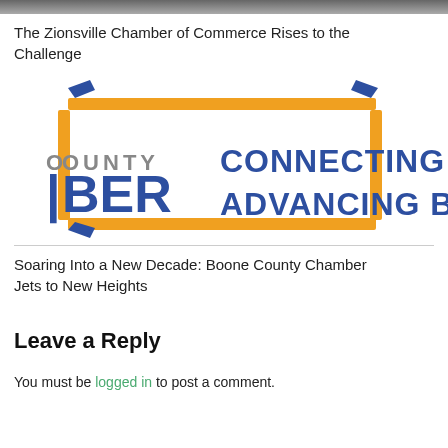[Figure (photo): Partial photo strip at top of page, cropped]
The Zionsville Chamber of Commerce Rises to the Challenge
[Figure (logo): Boone County Chamber logo with orange decorative elements, text reading COUNTY CHAMBER and CONNECTING C... ADVANCING B... in blue bold letters]
Soaring Into a New Decade: Boone County Chamber Jets to New Heights
Leave a Reply
You must be logged in to post a comment.